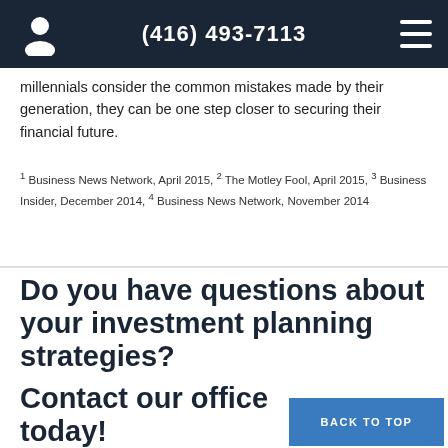(416) 493-7113
millennials consider the common mistakes made by their generation, they can be one step closer to securing their financial future.
1 Business News Network, April 2015, 2 The Motley Fool, April 2015, 3 Business Insider, December 2014, 4 Business News Network, November 2014
Do you have questions about your investment planning strategies?
Contact our office today!